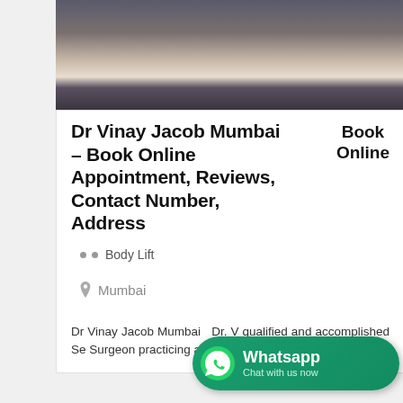[Figure (photo): Photo of Dr Vinay Jacob, a man in a dark suit and white shirt, partially cropped showing torso and lower face area]
Dr Vinay Jacob Mumbai – Book Online Appointment, Reviews, Contact Number, Address
Book Online
Body Lift
Mumbai
Dr Vinay Jacob Mumbai   Dr. V qualified and accomplished Se Surgeon practicing at the Bombay Hospital
[Figure (other): WhatsApp chat widget — green rounded rectangle with WhatsApp icon and text 'Whatsapp Chat with us now']